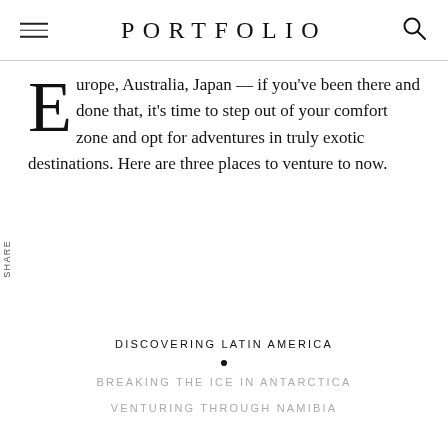PORTFOLIO
Europe, Australia, Japan — if you've been there and done that, it's time to step out of your comfort zone and opt for adventures in truly exotic destinations. Here are three places to venture to now.
DISCOVERING LATIN AMERICA
BREAKING THE ICE IN ANTARCTICA
VENTURING THROUGH NAMIBIA